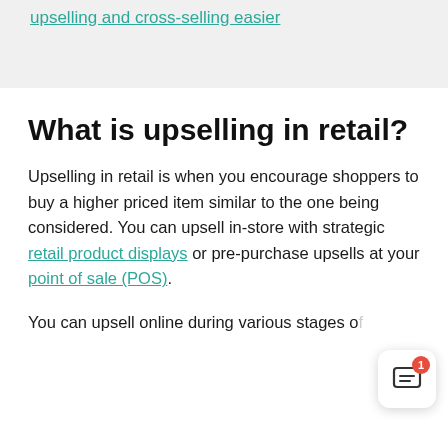upselling and cross-selling easier
What is upselling in retail?
Upselling in retail is when you encourage shoppers to buy a higher priced item similar to the one being considered. You can upsell in-store with strategic retail product displays or pre-purchase upsells at your point of sale (POS).
You can upsell online during various stages of